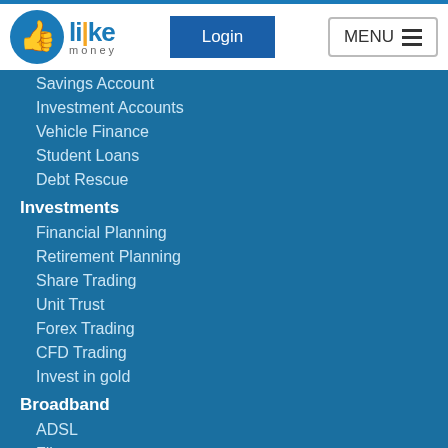[Figure (logo): LikeMoney logo — blue thumbs-up circle icon with 'like' in blue bold text and 'money' in small grey letters below]
Savings Account
Investment Accounts
Vehicle Finance
Student Loans
Debt Rescue
Investments
Financial Planning
Retirement Planning
Share Trading
Unit Trust
Forex Trading
CFD Trading
Invest in gold
Broadband
ADSL
Fibre
Mobile Data Plan
Travel
Flights